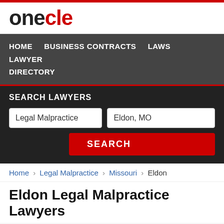onecle
HOME   BUSINESS CONTRACTS   LAWS   LAWYER DIRECTORY
SEARCH LAWYERS
Legal Malpractice   Eldon, MO   SEARCH
Home › Legal Malpractice › Missouri › Eldon
Eldon Legal Malpractice Lawyers
Timothy Monsees
(816) 361-5550 Free Consultation